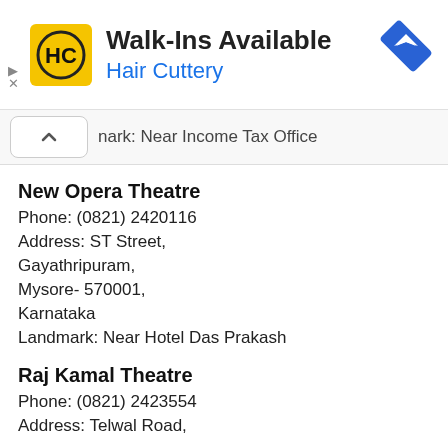[Figure (logo): Hair Cuttery advertisement banner with HC logo, Walk-Ins Available heading, and navigation icon]
nark:  Near Income Tax Office
New Opera Theatre
Phone:  (0821) 2420116
Address:   ST Street,
Gayathripuram,
Mysore- 570001,
Karnataka
Landmark:  Near Hotel Das Prakash
Raj Kamal Theatre
Phone:  (0821) 2423554
Address:   Telwal Road,